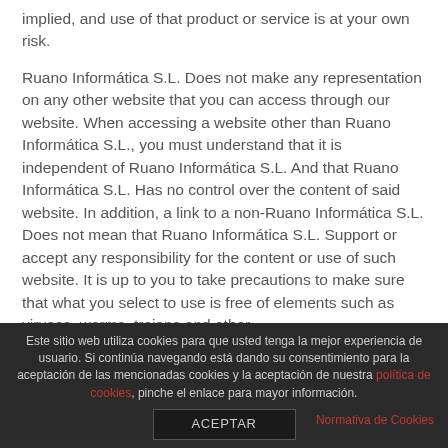implied, and use of that product or service is at your own risk.
Ruano Informática S.L. Does not make any representation on any other website that you can access through our website. When accessing a website other than Ruano Informática S.L., you must understand that it is independent of Ruano Informática S.L. And that Ruano Informática S.L. Has no control over the content of said website. In addition, a link to a non-Ruano Informática S.L. Does not mean that Ruano Informática S.L. Support or accept any responsibility for the content or use of such website. It is up to you to take precautions to make sure that what you select to use is free of elements such as viruses, worms, trojans and other
Este sitio web utiliza cookies para que usted tenga la mejor experiencia de usuario. Si continúa navegando está dando su consentimiento para la aceptación de las mencionadas cookies y la aceptación de nuestra política de cookies, pinche el enlace para mayor información. ACEPTAR Normativa de Cookies